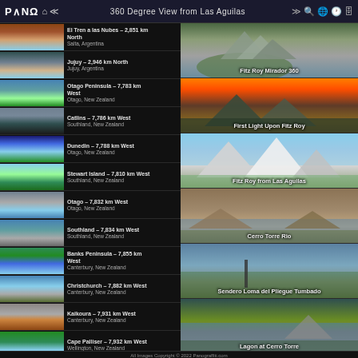PANO 360 Degree View from Las Aguilas
El Tren a las Nubes - 2,851 km North
Salta, Argentina
Jujuy - 2,946 km North
Jujuy, Argentina
[Figure (photo): Fitz Roy Mirador 360 - panoramic mountain view]
Otago Peninsula - 7,783 km West
Otago, New Zealand
Catlins - 7,786 km West
Southland, New Zealand
[Figure (photo): First Light Upon Fitz Roy - orange sunset over mountains]
Dunedin - 7,788 km West
Otago, New Zealand
Stewart Island - 7,810 km West
Southland, New Zealand
[Figure (photo): Fitz Roy from Las Aguilas - snow-capped mountain peaks]
Otago - 7,832 km West
Otago, New Zealand
Southland - 7,834 km West
Southland, New Zealand
[Figure (photo): Cerro Torre Rio - mountain and river panorama]
Banks Peninsula - 7,855 km West
Canterbury, New Zealand
Christchurch - 7,882 km West
Canterbury, New Zealand
[Figure (photo): Sendero Loma del Pliegue Tumbado - hiking trail panorama]
Kaikoura - 7,931 km West
Canterbury, New Zealand
Cape Palliser - 7,932 km West
Wellington, New Zealand
[Figure (photo): Lagon at Cerro Torre - lagoon and mountain view]
Omarama - 7,936 km West
Otago, New Zealand
Queenstown - 7,941 km West
Otago, New Zealand
[Figure (photo): Chorrillo del Salto/Chorrillo del Salto - waterfall]
Arrowtown - 7,949 km West
Otago, New Zealand
All Images Copyright © 2022 Panograffiti.com